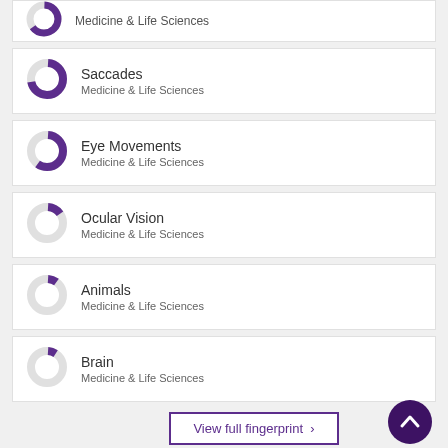[Figure (donut-chart): Partially visible donut chart at top]
Saccades
Medicine & Life Sciences
Eye Movements
Medicine & Life Sciences
Ocular Vision
Medicine & Life Sciences
Animals
Medicine & Life Sciences
Brain
Medicine & Life Sciences
View full fingerprint >